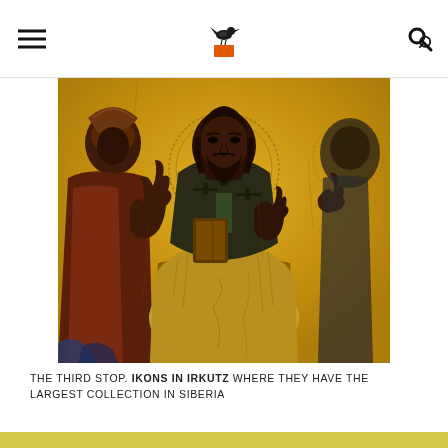[Navigation header with hamburger menu, bird logo, and search icon]
[Figure (photo): Orthodox icon painting on gold background showing Christ enthroned (Pantocrator) in the center with two flanking figures, on cracked antique panel]
THE THIRD STOP. IKONS IN IRKUTZ WHERE THEY HAVE THE LARGEST COLLECTION IN SIBERIA